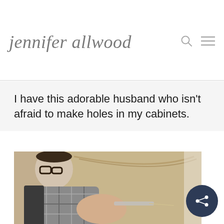jennifer allwood
I have this adorable husband who isn't afraid to make holes in my cabinets.
[Figure (photo): A man wearing glasses and a plaid shirt drilling or inserting something into a painted cabinet door, close-up shot showing hands working on the cabinet surface.]